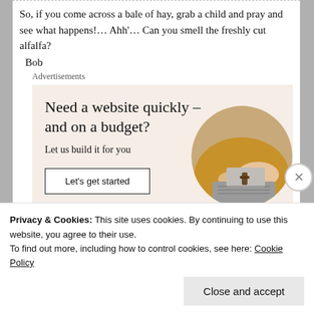So, if you come across a bale of hay, grab a child and pray and see what happens!… Ahh'… Can you smell the freshly cut alfalfa?
Bob
Advertisements
[Figure (infographic): WordPress advertisement: 'Need a website quickly – and on a budget? Let us build it for you' with a 'Let's get started' button, WordPress logo, and a circular photo of hands typing on a laptop.]
Privacy & Cookies: This site uses cookies. By continuing to use this website, you agree to their use.
To find out more, including how to control cookies, see here: Cookie Policy
Close and accept